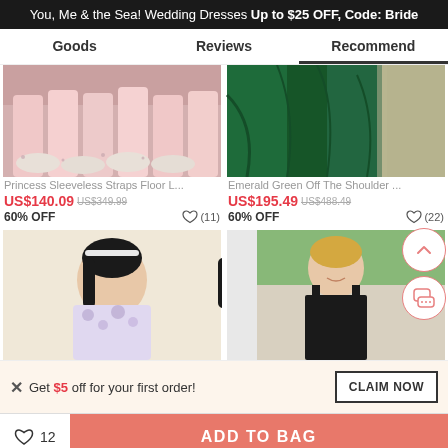You, Me & the Sea! Wedding Dresses Up to $25 OFF, Code: Bride
Goods | Reviews | Recommend
[Figure (photo): Pink bridesmaid dresses with white floral heels at bottom]
[Figure (photo): Emerald green off-shoulder gown fabric]
Princess Sleeveless Straps Floor L...
US$140.09  US$349.99  60% OFF  ♡ (11)
Emerald Green Off The Shoulder ...
US$195.49  US$488.49  60% OFF  ♡ (22)
[Figure (photo): Woman in floral white dress with dark hair]
[Figure (photo): Blonde woman in black gown outdoors]
Get $5 off for your first order!
CLAIM NOW
♡ 12  ADD TO BAG